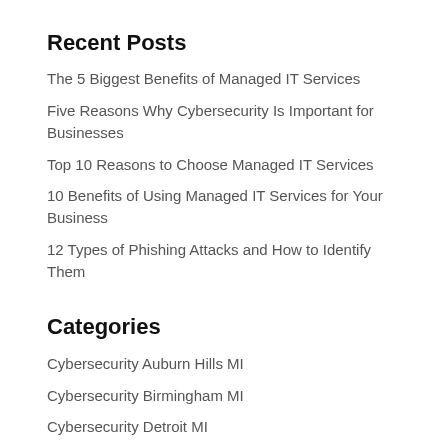Recent Posts
The 5 Biggest Benefits of Managed IT Services
Five Reasons Why Cybersecurity Is Important for Businesses
Top 10 Reasons to Choose Managed IT Services
10 Benefits of Using Managed IT Services for Your Business
12 Types of Phishing Attacks and How to Identify Them
Categories
Cybersecurity Auburn Hills MI
Cybersecurity Birmingham MI
Cybersecurity Detroit MI
Cybersecurity Rochester MI